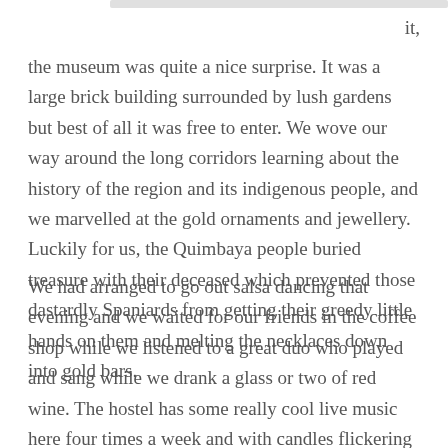it,
the museum was quite a nice surprise. It was a large brick building surrounded by lush gardens but best of all it was free to enter. We wove our way around the long corridors learning about the history of the region and its indigenous people, and we marvelled at the gold ornaments and jewellery. Luckily for us, the Quimbaya people buried treasure with their deceased which prevented those dastardly Spaniards from getting their greedy little hands on them and melting the necklaces down into gold bars.
We had arranged to go out salsa dancing that evening and we waited for our friends in the coffee shop while we listened to a great duo who played and sang while we drank a glass or two of red wine. The hostel has some really cool live music here four times a week and with candles flickering on the tables and many locals joining guests it is a cool place to hang out. There is